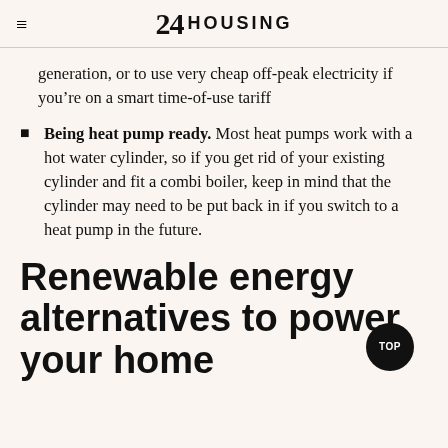24 HOUSING
generation, or to use very cheap off-peak electricity if you're on a smart time-of-use tariff
Being heat pump ready. Most heat pumps work with a hot water cylinder, so if you get rid of your existing cylinder and fit a combi boiler, keep in mind that the cylinder may need to be put back in if you switch to a heat pump in the future.
Renewable energy alternatives to power your home